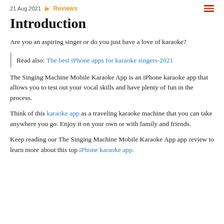21 Aug 2021  Reviews
Introduction
Are you an aspiring singer or do you just have a love of karaoke?
Read also: The best iPhone apps for karaoke singers-2021
The Singing Machine Mobile Karaoke App is an iPhone karaoke app that allows you to test out your vocal skills and have plenty of fun in the process.
Think of this karaoke app as a traveling karaoke machine that you can take anywhere you go. Enjoy it on your own or with family and friends.
Keep reading our The Singing Machine Mobile Karaoke App app review to learn more about this top iPhone karaoke app.